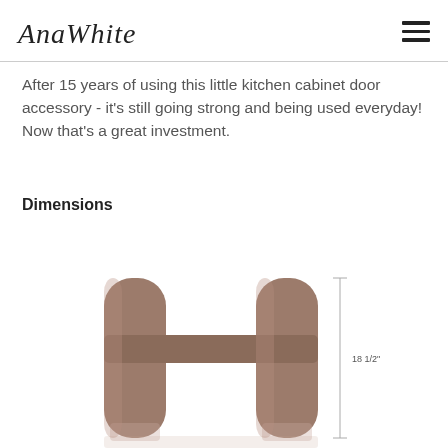AnaWhite
After 15 years of using this little kitchen cabinet door accessory - it's still going strong and being used everyday! Now that's a great investment.
Dimensions
[Figure (engineering-diagram): 3D CAD rendering of a wooden kitchen cabinet door organizer/rack shown from the front, with two vertical side posts with rounded tops, connected by a horizontal bar in the middle. A dimension line on the right side indicates a height of 18 1/2 inches.]